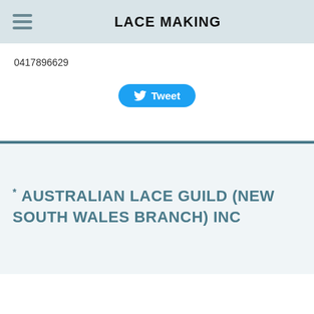LACE MAKING
0417896629
[Figure (other): Tweet button with Twitter bird icon]
* AUSTRALIAN LACE GUILD (NEW SOUTH WALES BRANCH) INC